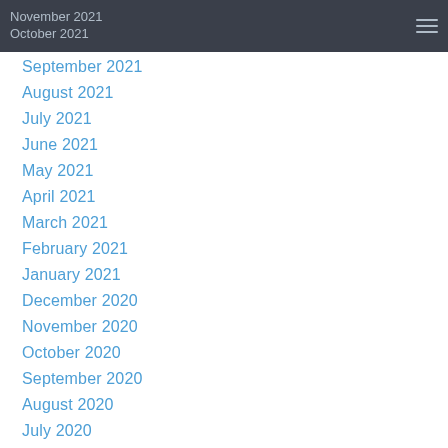November 2021
October 2021
September 2021
August 2021
July 2021
June 2021
May 2021
April 2021
March 2021
February 2021
January 2021
December 2020
November 2020
October 2020
September 2020
August 2020
July 2020
June 2020
May 2020